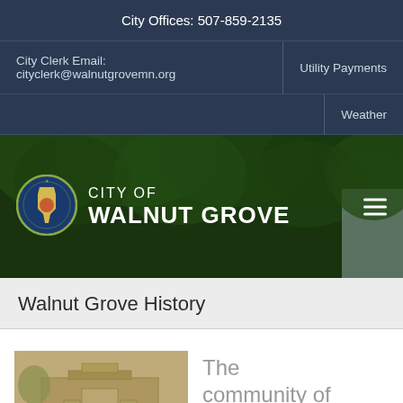City Offices: 507-859-2135
City Clerk Email: cityclerk@walnutgrovemn.org
Utility Payments
Weather
[Figure (logo): City of Walnut Grove logo with Minnesota state seal and hero banner with trees in background]
Walnut Grove History
[Figure (photo): Historic sepia photograph of an old building in Walnut Grove]
The community of